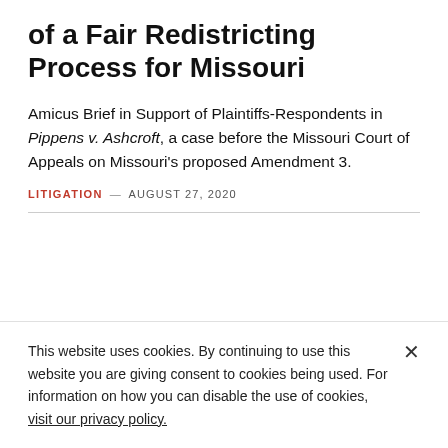of a Fair Redistricting Process for Missouri
Amicus Brief in Support of Plaintiffs-Respondents in Pippens v. Ashcroft, a case before the Missouri Court of Appeals on Missouri's proposed Amendment 3.
LITIGATION — AUGUST 27, 2020
This website uses cookies. By continuing to use this website you are giving consent to cookies being used. For information on how you can disable the use of cookies, visit our privacy policy.